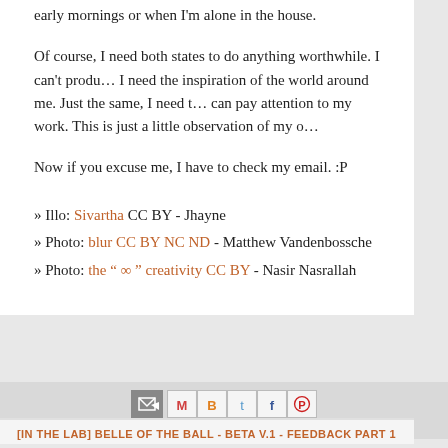early mornings or when I'm alone in the house.
Of course, I need both states to do anything worthwhile. I can't produ... I need the inspiration of the world around me. Just the same, I need t... can pay attention to my work. This is just a little observation of my o...
Now if you excuse me, I have to check my email. :P
» Illo: Sivartha CC BY - Jhayne
» Photo: blur CC BY NC ND - Matthew Vandenbossche
» Photo: the " ∞ " creativity CC BY - Nasir Nasrallah
LABELS: GAME DESIGN, WRITING
[IN THE LAB] BELLE OF THE BALL - BETA V.1 - FEEDBACK PART 1